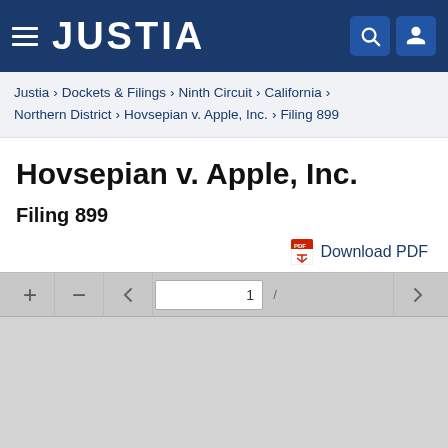JUSTIA
Justia › Dockets & Filings › Ninth Circuit › California › Northern District › Hovsepian v. Apple, Inc. › Filing 899
Hovsepian v. Apple, Inc.
Filing 899
Download PDF
[Figure (screenshot): PDF viewer toolbar and empty gray document page area showing navigation controls: plus, minus, back arrow, page number field (1), forward arrow]